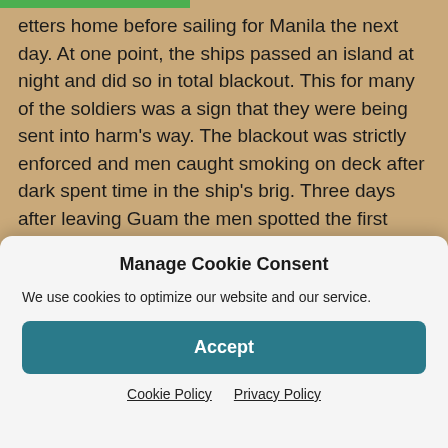etters home before sailing for Manila the next day. At one point, the ships passed an island at night and did so in total blackout. This for many of the soldiers was a sign that they were being sent into harm's way. The blackout was strictly enforced and men caught smoking on deck after dark spent time in the ship's brig. Three days after leaving Guam the men spotted the first islands of the Philippines. The ships sailed around the south end of Luzon and then north up the west coast of Luzon toward Manila Bay.
The ships entered Manila Bay, at 8:00 A.M., on Thursday,
Manage Cookie Consent
We use cookies to optimize our website and our service.
Accept
Cookie Policy   Privacy Policy